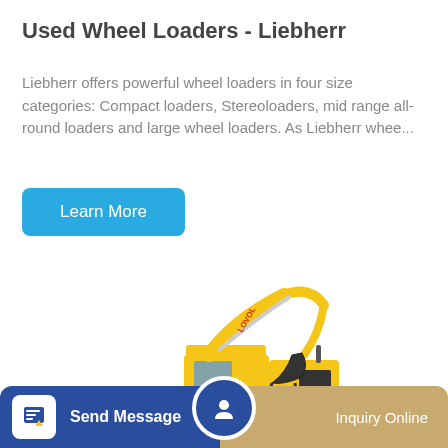Used Wheel Loaders - Liebherr
Liebherr offers powerful wheel loaders in four size categories: Compact loaders, Stereoloaders, mid range all-round loaders and large wheel loaders. As Liebherr whee...
Learn More
[Figure (photo): Yellow Lovol tracked excavator with articulated arm and bucket, shown on white background]
Send Message
Inquiry Online